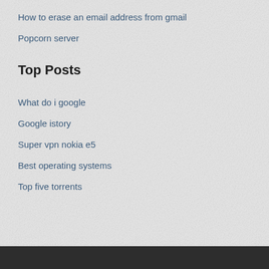How to erase an email address from gmail
Popcorn server
Top Posts
What do i google
Google istory
Super vpn nokia e5
Best operating systems
Top five torrents